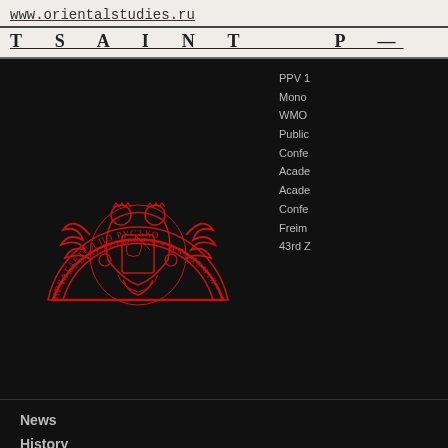www.orientalstudies.ru
T S A I N T P
[Figure (logo): Red semicircular institutional seal with Russian text and heraldic imagery on black background]
PPV 1
Mono
WMO
Public
Confe
Acade
Acade
Confe
Freim
43rd Z
News
History
Structure
Personalia